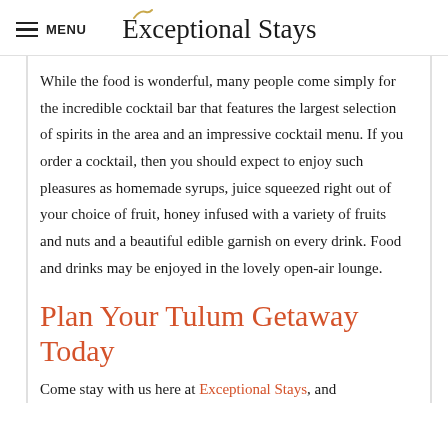MENU  Exceptional Stays
While the food is wonderful, many people come simply for the incredible cocktail bar that features the largest selection of spirits in the area and an impressive cocktail menu. If you order a cocktail, then you should expect to enjoy such pleasures as homemade syrups, juice squeezed right out of your choice of fruit, honey infused with a variety of fruits and nuts and a beautiful edible garnish on every drink. Food and drinks may be enjoyed in the lovely open-air lounge.
Plan Your Tulum Getaway Today
Come stay with us here at Exceptional Stays, and